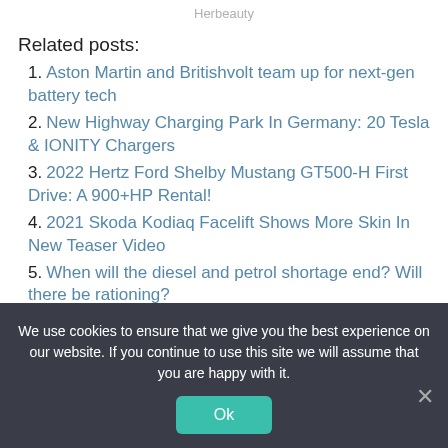Herbeauty
Related posts:
1. Aston Martin and Britishvolt team up for next-gen battery tech
2. New Highway Charging Park In Germany: 20 Tesla & IONITY Chargers
3. 2022 Hertz Ford Shelby Mustang GT500-H First Drive: A 900+HP Rental!
4. 2021 Skoda Kodiaq Facelift Shows More Skin In New Teaser Video
5. When will the diesel and petrol shortage end? Will there be rationing?
We use cookies to ensure that we give you the best experience on our website. If you continue to use this site we will assume that you are happy with it.